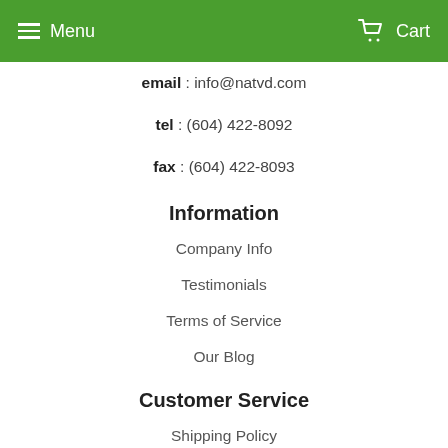Menu   Cart
email : info@natvd.com
tel : (604) 422-8092
fax : (604) 422-8093
Information
Company Info
Testimonials
Terms of Service
Our Blog
Customer Service
Shipping Policy
Refund Policy